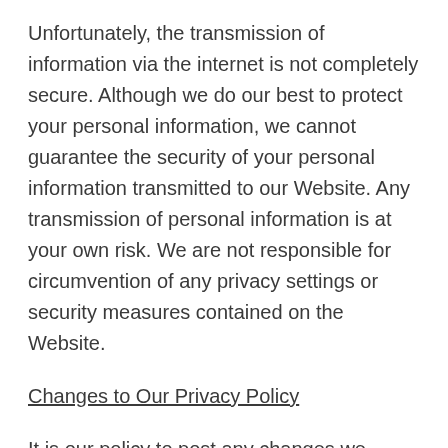Unfortunately, the transmission of information via the internet is not completely secure. Although we do our best to protect your personal information, we cannot guarantee the security of your personal information transmitted to our Website. Any transmission of personal information is at your own risk. We are not responsible for circumvention of any privacy settings or security measures contained on the Website.
Changes to Our Privacy Policy
It is our policy to post any changes we make to our privacy policy on this page with a notice that